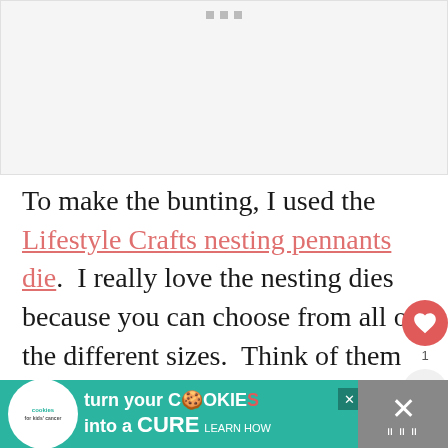[Figure (photo): Image placeholder area with three small gray dots at top center, representing an image carousel or slideshow]
To make the bunting, I used the Lifestyle Crafts nesting pennants die.  I really love the nesting dies because you can choose from all of the different sizes.  Think of them kind of like cookie cutters.  You run them through the Evolution, it presses the dies down, and cuts through the fabric.  This die even cuts little sl...
[Figure (infographic): Advertisement banner: cookies for kids cancer - turn your COOKIES into a CURE LEARN HOW]